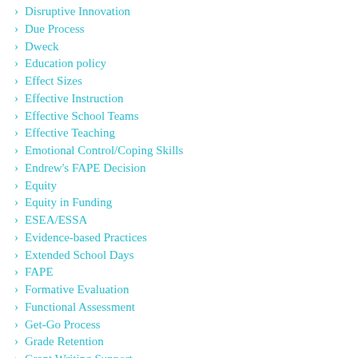Disruptive Innovation
Due Process
Dweck
Education policy
Effect Sizes
Effective Instruction
Effective School Teams
Effective Teaching
Emotional Control/Coping Skills
Endrew's FAPE Decision
Equity
Equity in Funding
ESEA/ESSA
Evidence-based Practices
Extended School Days
FAPE
Formative Evaluation
Functional Assessment
Get-Go Process
Grade Retention
Grant Writing Support
Growth Mindset
Gun Laws